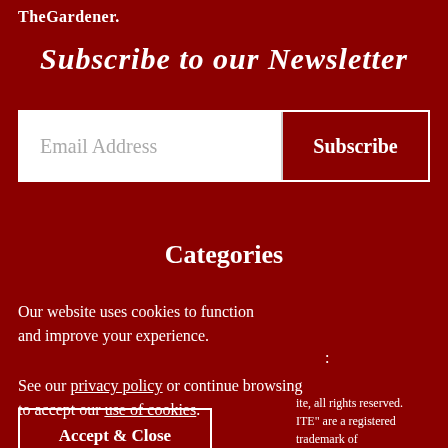TheGardener.
Subscribe to our Newsletter
Email Address
Subscribe
Categories
Our website uses cookies to function and improve your experience.
See our privacy policy or continue browsing to accept our use of cookies.
ite, all rights reserved. ITE" are a registered trademark of GB 109 6996 27.
Accept & Close